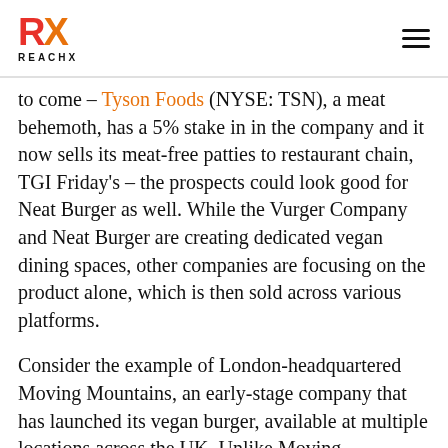REACHX
to come – Tyson Foods (NYSE: TSN), a meat behemoth, has a 5% stake in in the company and it now sells its meat-free patties to restaurant chain, TGI Friday's – the prospects could look good for Neat Burger as well. While the Vurger Company and Neat Burger are creating dedicated vegan dining spaces, other companies are focusing on the product alone, which is then sold across various platforms.
Consider the example of London-headquartered Moving Mountains, an early-stage company that has launched its vegan burger, available at multiple locations across the UK. Unlike Moving Mountains burgers, however, which are available at pubs and